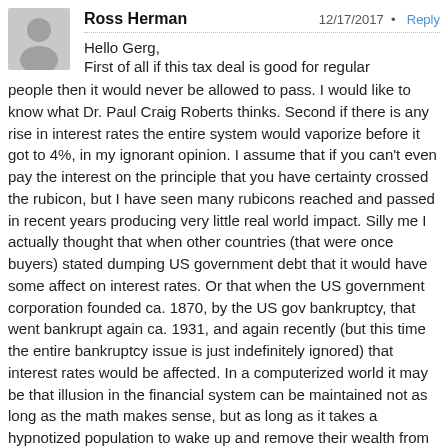[Figure (illustration): Gray circular avatar/profile picture placeholder showing a generic silhouette of a person]
Ross Herman
12/17/2017 • Reply
Hello Gerg,
First of all if this tax deal is good for regular people then it would never be allowed to pass. I would like to know what Dr. Paul Craig Roberts thinks. Second if there is any rise in interest rates the entire system would vaporize before it got to 4%, in my ignorant opinion. I assume that if you can't even pay the interest on the principle that you have certainty crossed the rubicon, but I have seen many rubicons reached and passed in recent years producing very little real world impact. Silly me I actually thought that when other countries (that were once buyers) stated dumping US government debt that it would have some affect on interest rates. Or that when the US government corporation founded ca. 1870, by the US gov bankruptcy, that went bankrupt again ca. 1931, and again recently (but this time the entire bankruptcy issue is just indefinitely ignored) that interest rates would be affected. In a computerized world it may be that illusion in the financial system can be maintained not as long as the math makes sense, but as long as it takes a hypnotized population to wake up and remove their wealth from banker control.